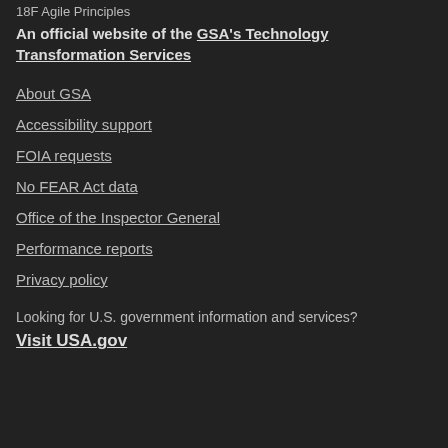18F Agile Principles
An official website of the GSA's Technology Transformation Services
About GSA
Accessibility support
FOIA requests
No FEAR Act data
Office of the Inspector General
Performance reports
Privacy policy
Looking for U.S. government information and services?
Visit USA.gov